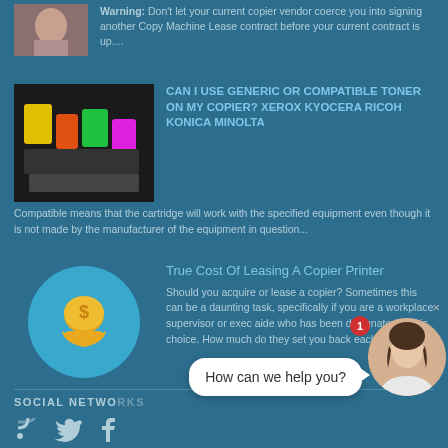Warning: Don't let your current copier vendor coerce you into signing another Copy Machine Lease contract before your current contract is up....
[Figure (photo): Thumbnail photo of a person, partially visible at top of page]
[Figure (photo): Photo of colorful toner cartridges in a copier]
CAN I USE GENERIC OR COMPATIBLE TONER ON MY COPIER? XEROX KYOCERA RICOH KONICA MINOLTA
Compatible means that the cartridge will work with the specified equipment even though it is not made by the manufacturer of the equipment in question...
[Figure (illustration): Blue circle with gold coin/hand icon for leasing article]
True Cost Of Leasing A Copier Printer
Should you acquire or lease a copier? Sometimes this can be a daunting task, specifically if you are a workplace supervisor or exec aide who has been designated to this choice. How much do they set you back each month?,...
SOCIAL NETWO...
[Figure (screenshot): Chat widget with 'How can we help you?' bubble and avatar of a woman]